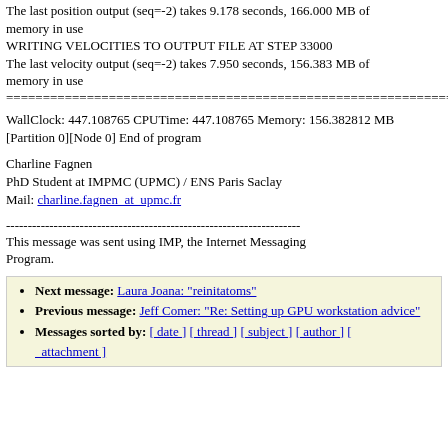The last position output (seq=-2) takes 9.178 seconds, 166.000 MB of
memory in use
WRITING VELOCITIES TO OUTPUT FILE AT STEP 33000
The last velocity output (seq=-2) takes 7.950 seconds, 156.383 MB of
memory in use
====================================================================
WallClock: 447.108765 CPUTime: 447.108765 Memory: 156.382812 MB
[Partition 0][Node 0] End of program
Charline Fagnen
PhD Student at IMPMC (UPMC) / ENS Paris Saclay
Mail: charline.fagnen_at_upmc.fr
--------------------------------------------------------------------
This message was sent using IMP, the Internet Messaging Program.
Next message: Laura Joana: "reinitatoms"
Previous message: Jeff Comer: "Re: Setting up GPU workstation advice"
Messages sorted by: [ date ] [ thread ] [ subject ] [ author ] [ attachment ]